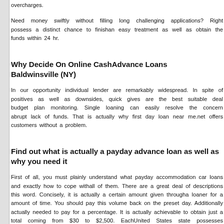overcharges.
Need money swiftly without filling long challenging applications? Right possess a distinct chance to finishan easy treatment as well as obtain the funds within 24 hr.
Why Decide On Online CashAdvance Loans Baldwinsville (NY)
In our opportunity individual lender are remarkably widespread. In spite of positives as well as downsides, quick gives are the best suitable deal budget plan monitoring. Single loaning can easily resolve the concern abrupt lack of funds. That is actually why first day loan near me.net offers customers without a problem.
Find out what is actually a payday advance loan as well as why you need it
First of all, you must plainly understand what payday accommodation car loans and exactly how to cope withall of them. There are a great deal of descriptions this word. Concisely, it is actually a certain amount given througha loaner for a amount of time. You should pay this volume back on the preset day. Additionally actually needed to pay for a percentage. It is actually achievable to obtain just a total coming from $30 to $2,500. EachUnited States state possesses insurance claim for finance. Thus, if you want to produce your personal come as well as borrow a big total, this solution is actually except you. Our firm is focused solving important troubles when you need to have tiny funds. There are